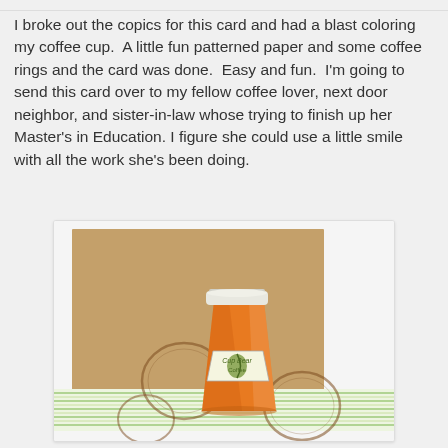I broke out the copics for this card and had a blast coloring my coffee cup.  A little fun patterned paper and some coffee rings and the card was done.  Easy and fun.  I'm going to send this card over to my fellow coffee lover, next door neighbor, and sister-in-law whose trying to finish up her Master's in Education. I figure she could use a little smile with all the work she's been doing.
[Figure (photo): A handmade greeting card with a kraft brown cardstock background, patterned stripe paper band, coffee ring stains, and a colorful orange to-go coffee cup illustration colored with Copic markers.]